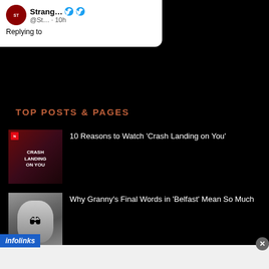[Figure (screenshot): Tweet card showing account 'Strang...' @St... · 10h, Replying to someone]
TOP POSTS & PAGES
[Figure (photo): Thumbnail for Crash Landing on You Netflix show]
10 Reasons to Watch 'Crash Landing on You'
[Figure (photo): Thumbnail for Belfast movie showing a face with glasses]
Why Granny's Final Words in 'Belfast' Mean So Much
[Figure (other): SmartPak advertisement banner - 50% Off Two Months of ColiCare, ColiCare Eligible Supplements, CODE: COLICARE10, Shop Now]